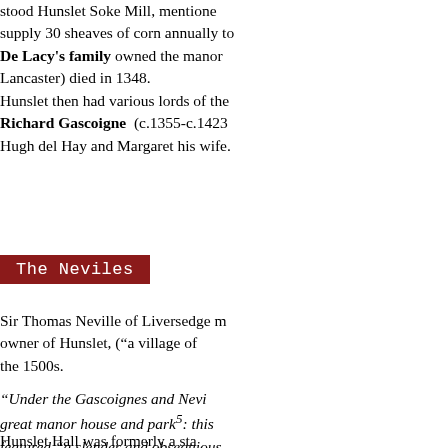stood Hunslet Soke Mill, mentioned… supply 30 sheaves of corn annually to De Lacy's family owned the manor… Lancaster) died in 1348. Hunslet then had various lords of the… Richard Gascoigne (c.1355-c.1423… Hugh del Hay and Margaret his wife.
The Neviles
Sir Thomas Neville of Liversedge m… owner of Hunslet, (“a village of… the 1500s.
“Under the Gascoignes and Nevi… great manor house and park○5: this… featured "a slender and obsequious… husbandry, but quiet, cleanliness and…
Hunslet Hall was formerly a sta…